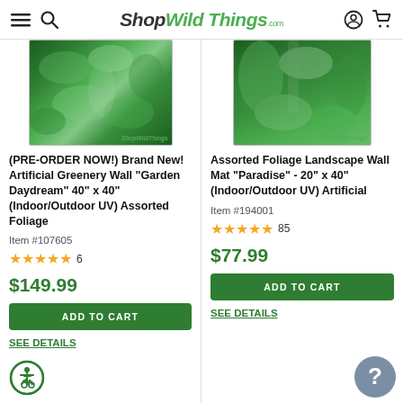ShopWildThings.com
[Figure (photo): Artificial greenery wall mat 'Garden Daydream' product photo showing dense green foliage panel]
(PRE-ORDER NOW!) Brand New! Artificial Greenery Wall "Garden Daydream" 40" x 40" (Indoor/Outdoor UV) Assorted Foliage
Item #107605
★★★★★ 6
$149.99
ADD TO CART
SEE DETAILS
[Figure (photo): Assorted foliage landscape wall mat 'Paradise' product photo showing dense green wall panel]
Assorted Foliage Landscape Wall Mat "Paradise" - 20" x 40" (Indoor/Outdoor UV) Artificial
Item #194001
★★★★★ 85
$77.99
ADD TO CART
SEE DETAILS